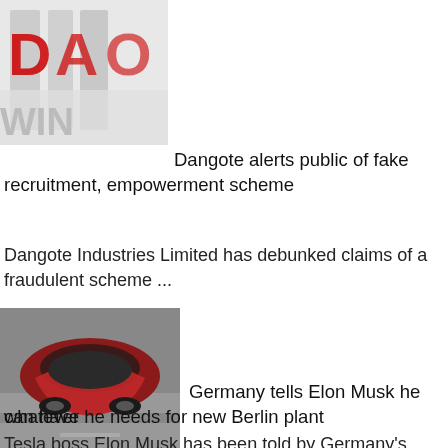[Figure (photo): Dangote logo image with red and white 3D letters on a white background]
Dangote alerts public of fake recruitment, empowerment scheme
Dangote Industries Limited has debunked claims of a fraudulent scheme ...
[Figure (photo): Red Tesla Model 3 car photographed from above on a grey road surface]
Germany tells Elon Musk he can have whatever he needs for new Berlin plant
Tesla boss Elon Musk has been told by Germany's economy ...